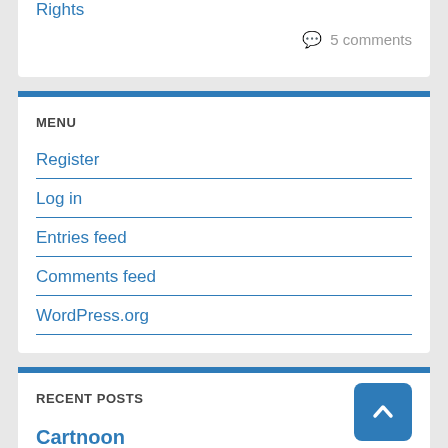Rights
5 comments
MENU
Register
Log in
Entries feed
Comments feed
WordPress.org
RECENT POSTS
Cartnoon